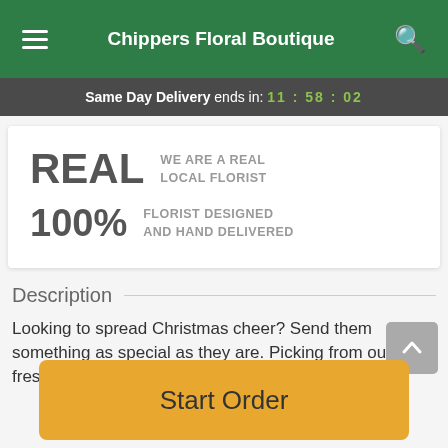Chippers Floral Boutique
Same Day Delivery ends in: 11 : 58 : 02
[Figure (infographic): Promo card with two rows: 'REAL  WE ARE A REAL LOCAL FLORIST' and '100%  FLORIST DESIGNED AND HAND DELIVERED']
Description
Looking to spread Christmas cheer? Send them something as special as they are. Picking from our freshest and most delightful...
Start Order